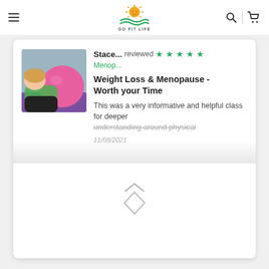GO FIT LIFE — navigation header with hamburger menu, logo, search and cart icons
[Figure (photo): Woman leaning on a large pink exercise ball on a purple mat]
Stace... reviewed ★★★★★ Menop...
Weight Loss & Menopause - Worth your Time
This was a very informative and helpful class for deeper understanding around physical
11/08/2021